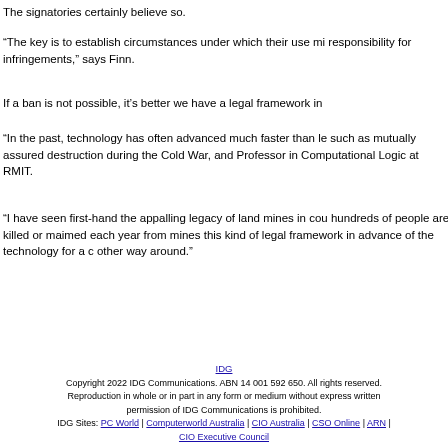The signatories certainly believe so.
“The key is to establish circumstances under which their use mi responsibility for infringements,” says Finn.
If a ban is not possible, it’s better we have a legal framework in
“In the past, technology has often advanced much faster than le such as mutually assured destruction during the Cold War, and Professor in Computational Logic at RMIT.
“I have seen first-hand the appalling legacy of land mines in cou hundreds of people are killed or maimed each year from mines this kind of legal framework in advance of the technology for a c other way around.”
IDG
Copyright 2022 IDG Communications. ABN 14 001 592 650. All rights reserved.
Reproduction in whole or in part in any form or medium without express written permission of IDG Communications is prohibited.
IDG Sites: PC World | Computerworld Australia | CIO Australia | CSO Online | ARN | CIO Executive Council